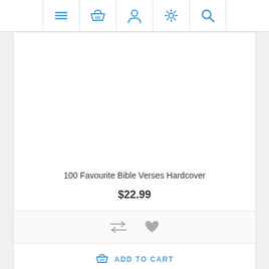[Figure (screenshot): Navigation bar with icons: hamburger menu, shopping basket, user/person, settings gear, search magnifier — all in blue]
[Figure (other): Empty white product image area]
100 Favourite Bible Verses Hardcover
$22.99
[Figure (other): Action icons: compare/transfer arrows (gray) and heart/favorite (gray)]
ADD TO CART
[Figure (other): Scroll to top button with double up chevron arrow]